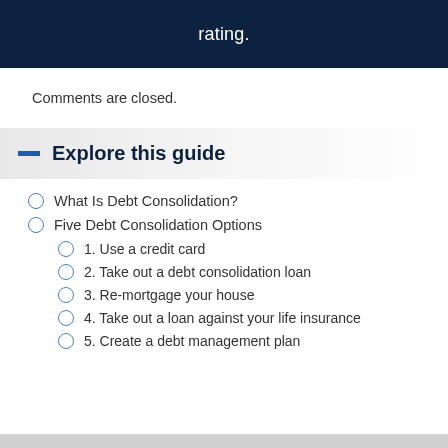rating.
Comments are closed.
Explore this guide
What Is Debt Consolidation?
Five Debt Consolidation Options
1. Use a credit card
2. Take out a debt consolidation loan
3. Re-mortgage your house
4. Take out a loan against your life insurance
5. Create a debt management plan